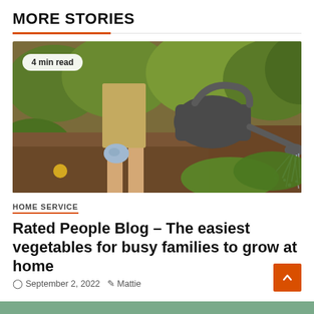MORE STORIES
[Figure (photo): Person in khaki shorts and garden gloves watering vegetables with a metal watering can in a garden. Badge reads '4 min read'.]
HOME SERVICE
Rated People Blog – The easiest vegetables for busy families to grow at home
September 2, 2022  Mattie